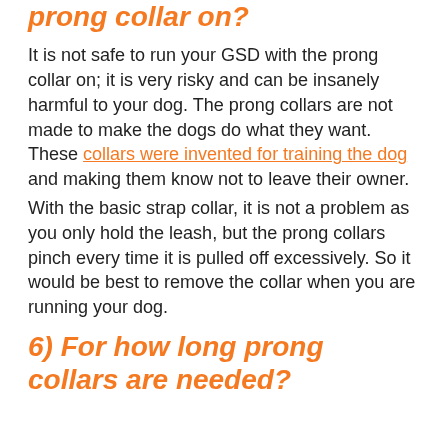prong collar on?
It is not safe to run your GSD with the prong collar on; it is very risky and can be insanely harmful to your dog. The prong collars are not made to make the dogs do what they want. These collars were invented for training the dog and making them know not to leave their owner.
With the basic strap collar, it is not a problem as you only hold the leash, but the prong collars pinch every time it is pulled off excessively. So it would be best to remove the collar when you are running your dog.
6) For how long prong collars are needed?